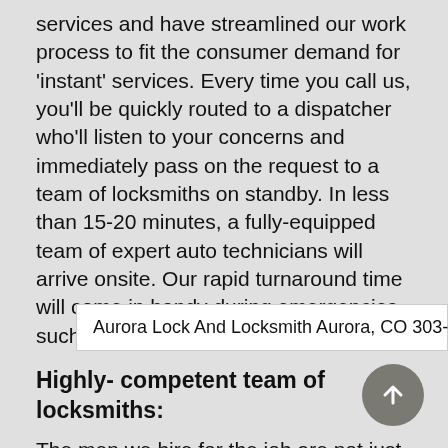services and have streamlined our work process to fit the consumer demand for 'instant' services. Every time you call us, you'll be quickly routed to a dispatcher who'll listen to your concerns and immediately pass on the request to a team of locksmiths on standby. In less than 15-20 minutes, a fully-equipped team of expert auto technicians will arrive onsite. Our rapid turnaround time will come in handy during emergencies, such a car lockout or ignition trouble.
Highly- competent team of locksmiths:
The men we hire for the job are not just qualified and experienced, but further undergo skill-based training de... kn... an... tra... to mo... de...
Aurora Lock And Locksmith Aurora, CO 303-214-7220